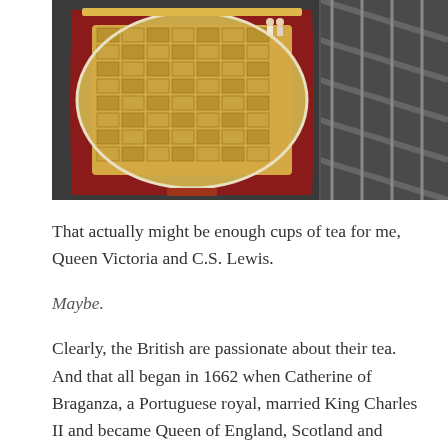[Figure (photo): A cross-section model/cutaway of a ship hull showing stacked cargo (tea crates) inside the hold, mounted on a red base. To the right, metal staircase/scaffolding structure visible in the background.]
That actually might be enough cups of tea for me, Queen Victoria and C.S. Lewis.
Maybe.
Clearly, the British are passionate about their tea. And that all began in 1662 when Catherine of Braganza, a Portuguese royal, married King Charles II and became Queen of England, Scotland and Ireland. Crates of Chinese black tea were part of her dowry. And because drinking tea was already a custom among the Portuguese nobility, she